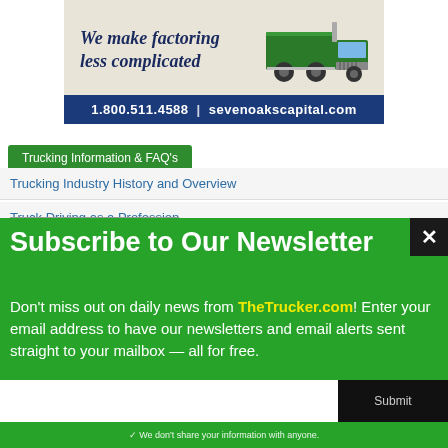[Figure (infographic): Seven Oaks Capital advertisement banner. Beige background with italic bold dark blue text 'We make factoring less complicated' and a green semi-truck illustration on the right. Blue bar below with text '1.800.511.4588 | sevenoakscapital.com']
Trucking Information & FAQ's
Trucking Industry History and Overview
Truck Driving as a Profession
Subscribe to Our Newsletter
Don't miss out on daily news from TheTrucker.com! Enter your email address to have our newsletters and email alerts sent straight to your mailbox — all for free.
✓ We don't share your information with anyone.